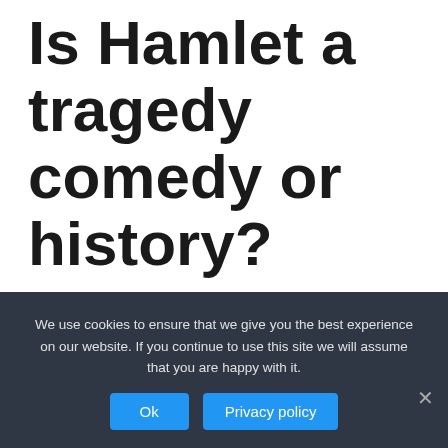Is Hamlet a tragedy comedy or history?
The comedies have common elements: they involve lovers and they almost always have a happy ending. Ten plays are considered tragedies: Titus Andronicus, Romeo and Juliet, King Lear, Hamlet, Othello, Julius Caesar, Macbeth, Antony and Cleopatra, Coriolanus, and Timon of Athens.
We use cookies to ensure that we give you the best experience on our website. If you continue to use this site we will assume that you are happy with it.